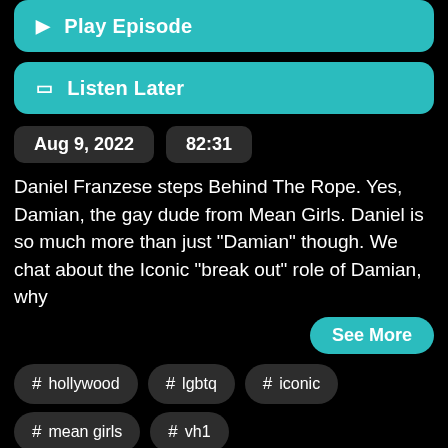▶ Play Episode
☐ Listen Later
Aug 9, 2022
82:31
Daniel Franzese steps Behind The Rope. Yes, Damian, the gay dude from Mean Girls. Daniel is so much more than just "Damian" though. We chat about the Iconic "break out" role of Damian, why
See More
# hollywood
# lgbtq
# iconic
# mean girls
# vh1
lindsay lohan
tina fey
# ticks